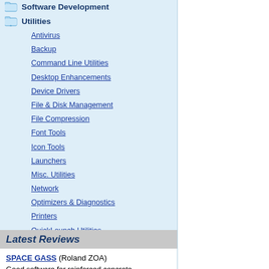Software Development
Utilities
Antivirus
Backup
Command Line Utilities
Desktop Enhancements
Device Drivers
File & Disk Management
File Compression
Font Tools
Icon Tools
Launchers
Misc. Utilities
Network
Optimizers & Diagnostics
Printers
QuickLaunch Utilities
Screensavers
Security & Encryption
Shell Extensions
System Surveillance
System Utilities
Uninstallers
Web Authoring
Latest Reviews
SPACE GASS (Roland ZOA)
Good software for reinforced concrete design, and it features a very